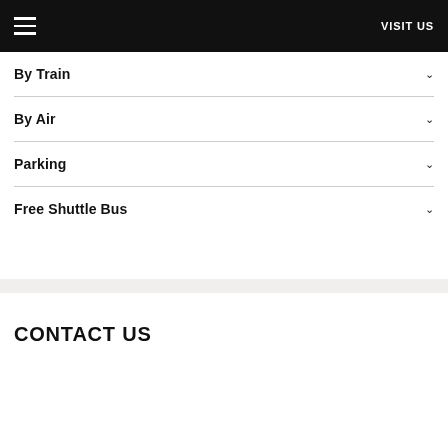VISIT US
By Train
By Air
Parking
Free Shuttle Bus
CONTACT US